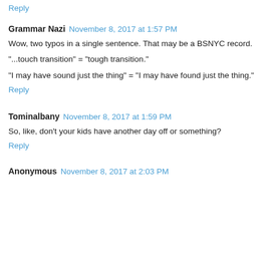Reply
Grammar Nazi  November 8, 2017 at 1:57 PM
Wow, two typos in a single sentence. That may be a BSNYC record.
"...touch transition" = "tough transition."
"I may have sound just the thing" = "I may have found just the thing."
Reply
Tominalbany  November 8, 2017 at 1:59 PM
So, like, don't your kids have another day off or something?
Reply
Anonymous  November 8, 2017 at 2:03 PM